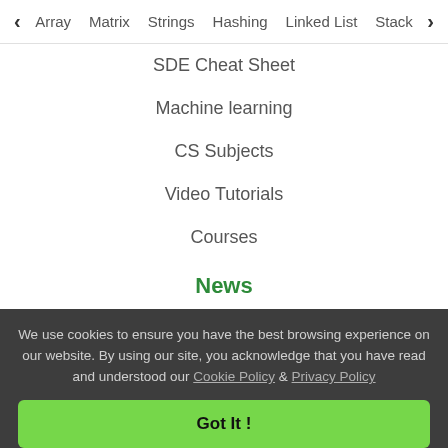< Array  Matrix  Strings  Hashing  Linked List  Stack >
SDE Cheat Sheet
Machine learning
CS Subjects
Video Tutorials
Courses
News
Top News
Technology
Work & Career
We use cookies to ensure you have the best browsing experience on our website. By using our site, you acknowledge that you have read and understood our Cookie Policy & Privacy Policy
Got It !